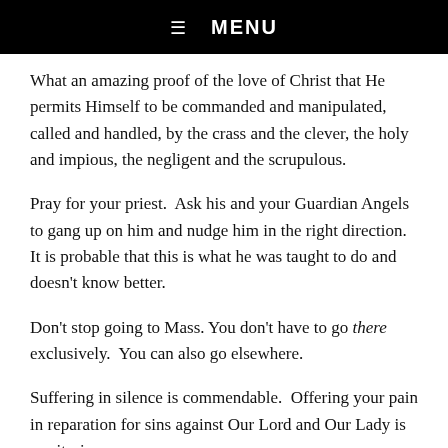☰  MENU
What an amazing proof of the love of Christ that He permits Himself to be commanded and manipulated, called and handled, by the crass and the clever, the holy and impious, the negligent and the scrupulous.
Pray for your priest.  Ask his and your Guardian Angels to gang up on him and nudge him in the right direction.  It is probable that this is what he was taught to do and doesn't know better.
Don't stop going to Mass. You don't have to go there exclusively.  You can also go elsewhere.
Suffering in silence is commendable.  Offering your pain in reparation for sins against Our Lord and Our Lady is meritorious.